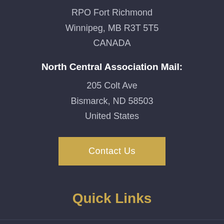RPO Fort Richmond
Winnipeg, MB R3T 5T5
CANADA
North Central Association Mail:
205 Colt Ave
Bismarck, ND 58503
United States
Contact Us
Quick Links
About